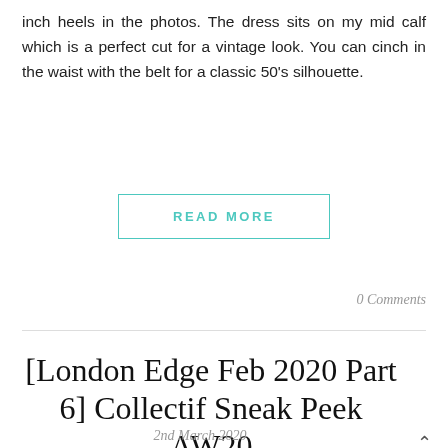inch heels in the photos. The dress sits on my mid calf which is a perfect cut for a vintage look. You can cinch in the waist with the belt for a classic 50's silhouette.
READ MORE
0 Comments
[London Edge Feb 2020 Part 6] Collectif Sneak Peek AW20
2nd March 2020